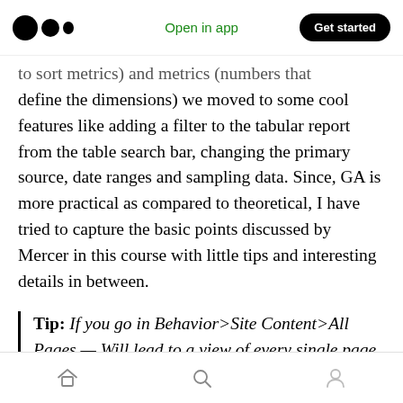Open in app | Get started
to sort metrics) and metrics (numbers that define the dimensions) we moved to some cool features like adding a filter to the tabular report from the table search bar, changing the primary source, date ranges and sampling data. Since, GA is more practical as compared to theoretical, I have tried to capture the basic points discussed by Mercer in this course with little tips and interesting details in between.
Tip: If you go in Behavior>Site Content>All Pages — Will lead to a view of every single page that all of your visitors are seeing. If a page is not in here then
Home | Search | Profile